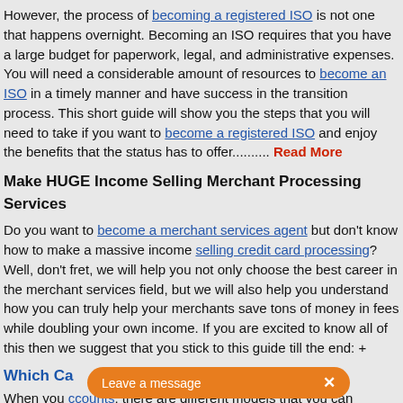However, the process of becoming a registered ISO is not one that happens overnight. Becoming an ISO requires that you have a large budget for paperwork, legal, and administrative expenses. You will need a considerable amount of resources to become an ISO in a timely manner and have success in the transition process. This short guide will show you the steps that you will need to take if you want to become a registered ISO and enjoy the benefits that the status has to offer.......... Read More
Make HUGE Income Selling Merchant Processing Services
Do you want to become a merchant services agent but don't know how to make a massive income selling credit card processing? Well, don't fret, we will help you not only choose the best career in the merchant services field, but we will also help you understand how you can truly help your merchants save tons of money in fees while doubling your own income. If you are excited to know all of this then we suggest that you stick to this guide till the end: +
Which Ca...
When you ... accounts, there are different models that you can choose from. You can go for the typical model of ... paid by merchants in credit card processing ... eliminate this fee, we suggest you read...
[Figure (screenshot): A popup widget overlaying page content. Top box: white rounded rectangle with 'HAVE A QUESTION?' and 'LEAVE A MESSAGE' text. Below: orange rounded pill bar with 'Leave a message' text and an X close button.]